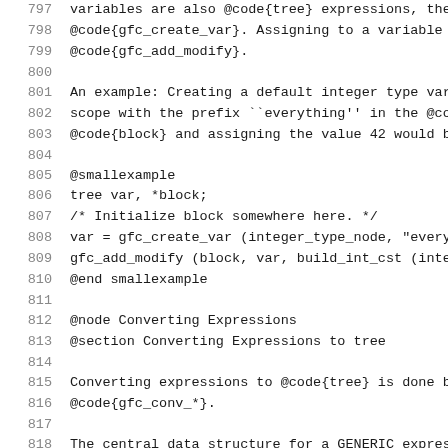797  variables are also @code{tree} expressions, the
798  @code{gfc_create_var}. Assigning to a variable c
799  @code{gfc_add_modify}.
800
801  An example: Creating a default integer type vari
802  scope with the prefix ``everything'' in the @co
803  @code{block} and assigning the value 42 would be
804
805  @smallexample
806  tree var, *block;
807  /* Initialize block somewhere here.  */
808  var = gfc_create_var (integer_type_node, "every
809  gfc_add_modify (block, var, build_int_cst (inte
810  @end smallexample
811
812  @node Converting Expressions
813  @section Converting Expressions to tree
814
815  Converting expressions to @code{tree} is done by
816  @code{gfc_conv_*}.
817
818  The central data structure for a GENERIC expres